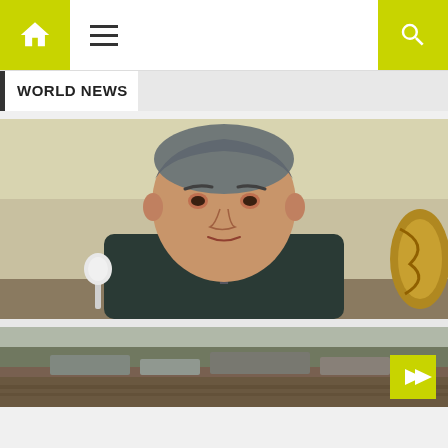Navigation bar with home icon, hamburger menu, and search icon
WORLD NEWS
[Figure (photo): Middle-aged man in dark suit with green lapel pin and patterned tie, sitting at a meeting table with a microphone in front and ornate golden chair visible, light colored wall behind him.]
[Figure (photo): Outdoor landscape photo with structures or vehicles visible in the background, taken in what appears to be a rural or industrial area.]